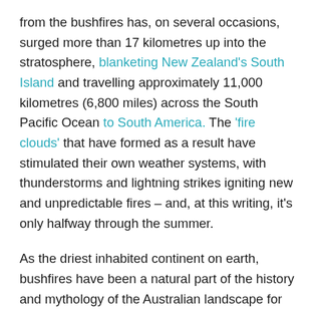from the bushfires has, on several occasions, surged more than 17 kilometres up into the stratosphere, blanketing New Zealand's South Island and travelling approximately 11,000 kilometres (6,800 miles) across the South Pacific Ocean to South America. The 'fire clouds' that have formed as a result have stimulated their own weather systems, with thunderstorms and lightning strikes igniting new and unpredictable fires – and, at this writing, it's only halfway through the summer.
As the driest inhabited continent on earth, bushfires have been a natural part of the history and mythology of the Australian landscape for tens of thousands of years. The fire conditions of the current 2019/2020 bushfire season, however, are without parallel on several fronts. Beyond the geographical scale and intensity of the fires, this